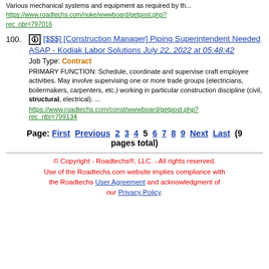Various mechanical systems and equipment as required by th...
https://www.roadtechs.com/nuke/wwwboard/getpost.php?rec_nbr=797016
100. [icon] [$$$] [Construction Manager] Piping Superintendent Needed ASAP - Kodiak Labor Solutions July 22, 2022 at 05:48:42
Job Type: Contract
PRIMARY FUNCTION: Schedule, coordinate and supervise craft employee activities. May involve supervising one or more trade groups (electricians, boilermakers, carpenters, etc.) working in particular construction discipline (civil, structural, electrical). ...
https://www.roadtechs.com/const/wwwboard/getpost.php?rec_nbr=799134
Page: First Previous 2 3 4 5 6 7 8 9 Next Last (9 pages total)
© Copyright - Roadtechs®, LLC. - All rights reserved. Use of the Roadtechs.com website implies compliance with the Roadtechs User Agreement and acknowledgment of our Privacy Policy.